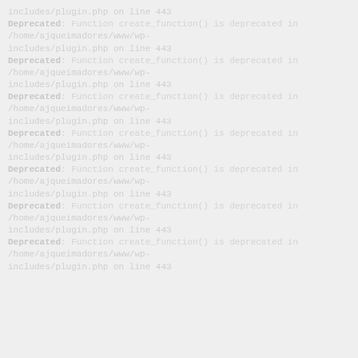includes/plugin.php on line 443
Deprecated: Function create_function() is deprecated in /home/ajqueimadores/www/wp-includes/plugin.php on line 443
Deprecated: Function create_function() is deprecated in /home/ajqueimadores/www/wp-includes/plugin.php on line 443
Deprecated: Function create_function() is deprecated in /home/ajqueimadores/www/wp-includes/plugin.php on line 443
Deprecated: Function create_function() is deprecated in /home/ajqueimadores/www/wp-includes/plugin.php on line 443
Deprecated: Function create_function() is deprecated in /home/ajqueimadores/www/wp-includes/plugin.php on line 443
Deprecated: Function create_function() is deprecated in /home/ajqueimadores/www/wp-includes/plugin.php on line 443